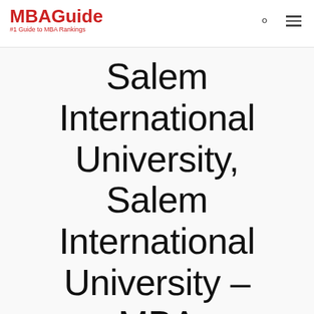MBAGuide #1 Guide to MBA Rankings
Salem International University, Salem International University – MBA